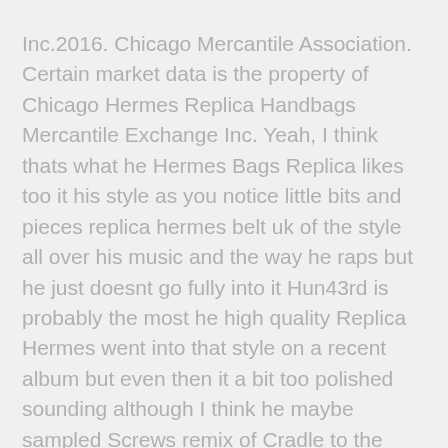Inc.2016. Chicago Mercantile Association. Certain market data is the property of Chicago Hermes Replica Handbags Mercantile Exchange Inc. Yeah, I think thats what he Hermes Bags Replica likes too it his style as you notice little bits and pieces replica hermes belt uk of the style all over his music and the way he raps but he just doesnt go fully into it Hun43rd is probably the most he high quality Replica Hermes went into that style on a recent album but even then it a bit too polished sounding although I think he maybe sampled Screws remix of Cradle to the grave? the opening to his perfect hermes replica new album named "Distorted Records" and having that scratchy type sound actually made me think he had fully committed to going for that sound but then it kicked into more uptempo rapping and his usual stuff again.It really nice to listen to that type of music when chilling and getting high best